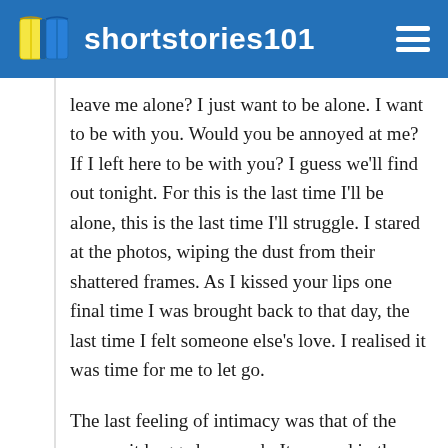shortstories101
leave me alone? I just want to be alone. I want to be with you. Would you be annoyed at me? If I left here to be with you? I guess we'll find out tonight. For this is the last time I'll be alone, this is the last time I'll struggle. I stared at the photos, wiping the dust from their shattered frames. As I kissed your lips one final time I was brought back to that day, the last time I felt someone else's love. I realised it was time for me to let go.
The last feeling of intimacy was that of the rope as it hugged my neck. It seemed in these final moments the rain outside began to stop. This was my final calling, my last